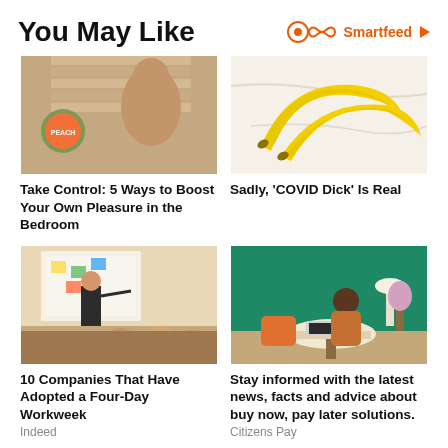You May Like
[Figure (logo): Smartfeed logo with infinity-eye icon and play button triangle in orange]
[Figure (photo): Woman in bikini crouching by window with blinds, with a round fruit logo overlay]
[Figure (photo): Two yellow bananas on a marble surface]
Take Control: 5 Ways to Boost Your Own Pleasure in the Bedroom
Sadly, 'COVID Dick' Is Real
[Figure (photo): Man presenting to a group of people seated in an office/workshop setting]
[Figure (photo): Woman sitting at a round table with a laptop in a green-walled room]
10 Companies That Have Adopted a Four-Day Workweek
Indeed
Stay informed with the latest news, facts and advice about buy now, pay later solutions.
Citizens Pay